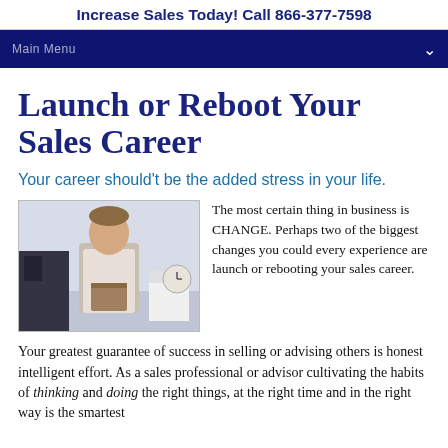Increase Sales Today! Call 866-377-7598
Main Menu
Launch or Reboot Your Sales Career
Your career should't be the added stress in your life.
[Figure (photo): Man in business casual shirt holding a box, office background]
The most certain thing in business is CHANGE. Perhaps two of the biggest changes you could every experience are launch or rebooting your sales career.
Your greatest guarantee of success in selling or advising others is honest intelligent effort. As a sales professional or advisor cultivating the habits of thinking and doing the right things, at the right time and in the right way is the smartest